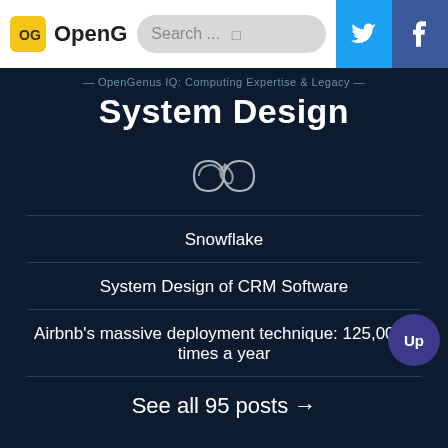OpenG | Search ... | Twitter | Facebook
— OpenGenus IQ: Computing Expertise & Legacy —
System Design
[Figure (illustration): Infinity symbol rendered as outline SVG icon]
Snowflake
System Design of CRM Software
Airbnb's massive deployment technique: 125,000+ times a year
See all 95 posts →